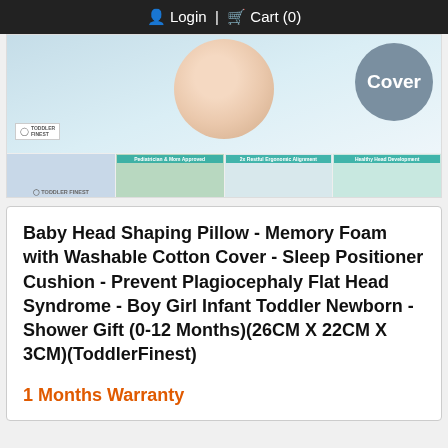Login | Cart (0)
[Figure (photo): Product image gallery showing baby head shaping pillow. Main image shows a baby with pillow and a circular 'Cover' badge. Below are four thumbnail images: product packaging, Pediatrician & Mom Approved badge, 2x Restful Ergonomic Alignment infographic, Healthy Head Development infographic.]
Baby Head Shaping Pillow - Memory Foam with Washable Cotton Cover - Sleep Positioner Cushion - Prevent Plagiocephaly Flat Head Syndrome - Boy Girl Infant Toddler Newborn - Shower Gift (0-12 Months)(26CM X 22CM X 3CM)(ToddlerFinest)
1 Months Warranty